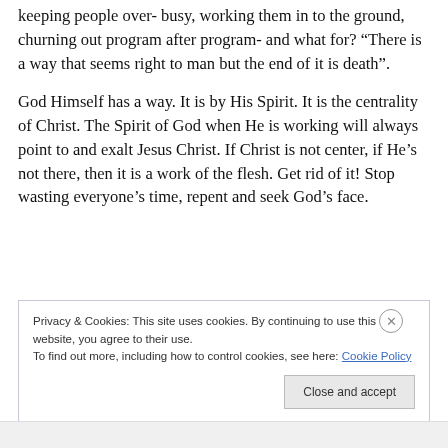keeping people over- busy, working them in to the ground, churning out program after program- and what for? “There is a way that seems right to man but the end of it is death”.
God Himself has a way. It is by His Spirit. It is the centrality of Christ. The Spirit of God when He is working will always point to and exalt Jesus Christ. If Christ is not center, if He’s not there, then it is a work of the flesh. Get rid of it! Stop wasting everyone’s time, repent and seek God’s face.
Privacy & Cookies: This site uses cookies. By continuing to use this website, you agree to their use. To find out more, including how to control cookies, see here: Cookie Policy